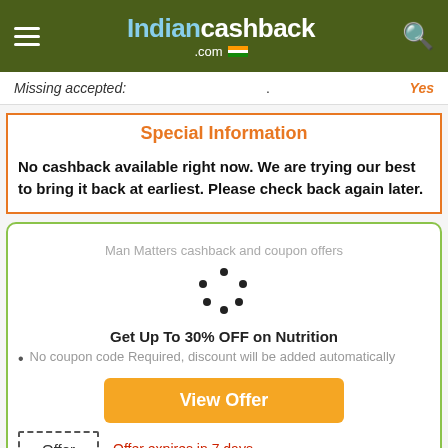Indiancashback.com
Missing accepted: . Yes
Special Information
No cashback available right now. We are trying our best to bring it back at earliest. Please check back again later.
[Figure (logo): Man Matters cashback and coupon offers logo with loading spinner]
Get Up To 30% OFF on Nutrition
No coupon code Required, discount will be added automatically
View Offer
Offer  Offer expires in 7 days